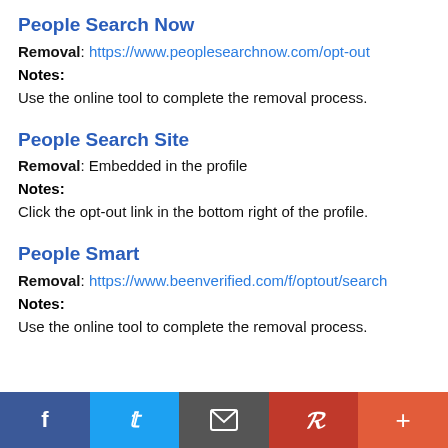People Search Now
Removal:  https://www.peoplesearchnow.com/opt-out
Notes:
Use the online tool to complete the removal process.
People Search Site
Removal:  Embedded in the profile
Notes:
Click the opt-out link in the bottom right of the profile.
People Smart
Removal:  https://www.beenverified.com/f/optout/search
Notes:
Use the online tool to complete the removal process.
f | Twitter | email | Pinterest | +